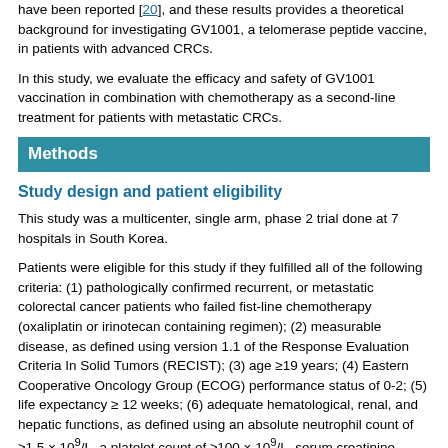have been reported [20], and these results provides a theoretical background for investigating GV1001, a telomerase peptide vaccine, in patients with advanced CRCs.
In this study, we evaluate the efficacy and safety of GV1001 vaccination in combination with chemotherapy as a second-line treatment for patients with metastatic CRCs.
Methods
Study design and patient eligibility
This study was a multicenter, single arm, phase 2 trial done at 7 hospitals in South Korea.
Patients were eligible for this study if they fulfilled all of the following criteria: (1) pathologically confirmed recurrent, or metastatic colorectal cancer patients who failed fist-line chemotherapy (oxaliplatin or irinotecan containing regimen); (2) measurable disease, as defined using version 1.1 of the Response Evaluation Criteria In Solid Tumors (RECIST); (3) age ≥19 years; (4) Eastern Cooperative Oncology Group (ECOG) performance status of 0-2; (5) life expectancy ≥ 12 weeks; (6) adequate hematological, renal, and hepatic functions, as defined using an absolute neutrophil count of ≥1.5 × 10⁹/L, a platelet count of ≥100 × 10⁹/L, serum creatinine levels of ≤1.5 × upper limit of normal or creatinine clearance ≥50 mL/min, serum bilirubin ≤2 × UNL, aspartate aminotransferase and alanine aminotransferase levels of ≤2.5 ×; and (7) willingness to provide informed consent to participate in this study.
Patients were excluded based on the following criteria: (1) other previous